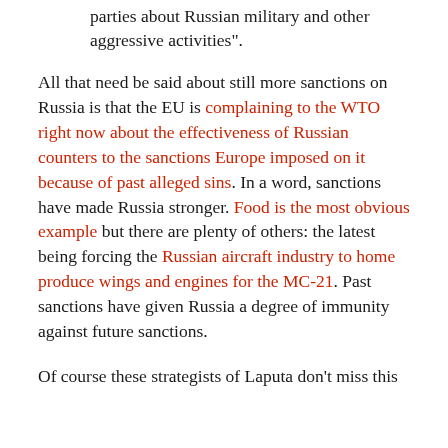parties about Russian military and other aggressive activities”.
All that need be said about still more sanctions on Russia is that the EU is complaining to the WTO right now about the effectiveness of Russian counters to the sanctions Europe imposed on it because of past alleged sins. In a word, sanctions have made Russia stronger. Food is the most obvious example but there are plenty of others: the latest being forcing the Russian aircraft industry to home produce wings and engines for the MC-21. Past sanctions have given Russia a degree of immunity against future sanctions.
Of course these strategists of Laputa don’t miss this